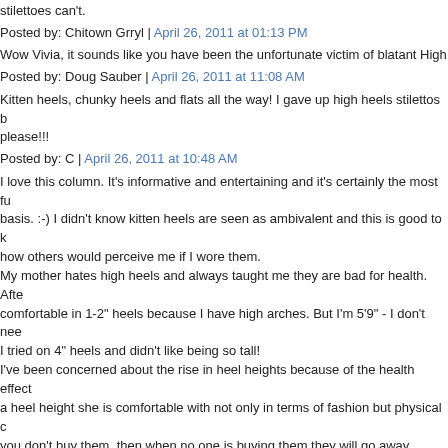stilettoes can't.
Posted by: Chitown Grryl | April 26, 2011 at 01:13 PM
Wow Vivia, it sounds like you have been the unfortunate victim of blatant High...
Posted by: Doug Sauber | April 26, 2011 at 11:08 AM
Kitten heels, chunky heels and flats all the way! I gave up high heels stilettos b... please!!!
Posted by: C | April 26, 2011 at 10:48 AM
I love this column. It's informative and entertaining and it's certainly the most fu... basis. :-) I didn't know kitten heels are seen as ambivalent and this is good to k... how others would perceive me if I wore them.
My mother hates high heels and always taught me they are bad for health. Afte... comfortable in 1-2" heels because I have high arches. But I'm 5'9" - I don't nee... I tried on 4" heels and didn't like being so tall!
I've been concerned about the rise in heel heights because of the health effect... a heel height she is comfortable with not only in terms of fashion but physical c... you don't buy them, then when no one is buying them they will go away.
I'm an assistant and I've been accused of flirting when I wasn't at all - so I've d... plain flat mary janes. I really am just there to work! Really!
Posted by: Julia | April 26, 2011 at 10:32 AM
While I understand the attraction of power heels, those shoes will deform wom... certain age, for most women high heels are nothing but painful. It would be a r... if we didn't feel the need to use pain to make ourselves powerful. That would s...
Posted by: L | April 26, 2011 at 10:14 AM
Nothing like putting on the Louboutins and towering over a sexist 5'8" part...